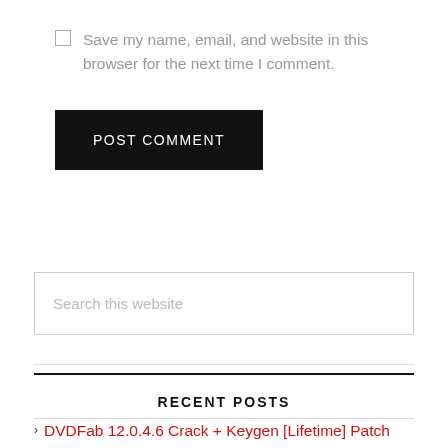Save my name, email, and website in this browser for the next time I comment.
POST COMMENT
Search this website
RECENT POSTS
DVDFab 12.0.4.6 Crack + Keygen [Lifetime] Patch